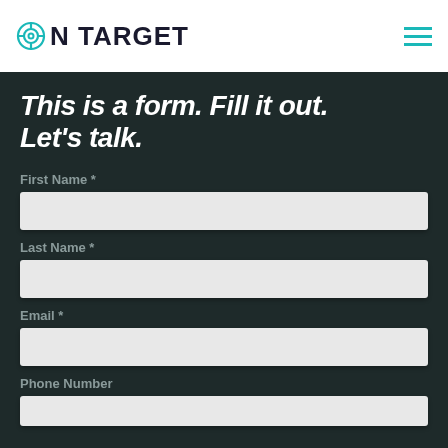ON TARGET
This is a form. Fill it out. Let's talk.
First Name *
Last Name *
Email *
Phone Number